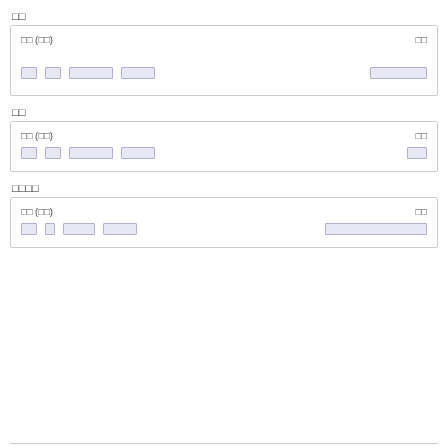□□
| □□ (□□) | □□ |
| --- | --- |
| □□  □□  □□□□□  □□□□ | □□□□□□□ |
□□
| □□ (□□) | □□ |
| --- | --- |
| □□  □□  □□□□□  □□□□ | □□ |
□□□□
| □□ (□□) | □□ |
| --- | --- |
| □□  □  □□□□  □□□□ | □□□□□□□□□□□□□ |